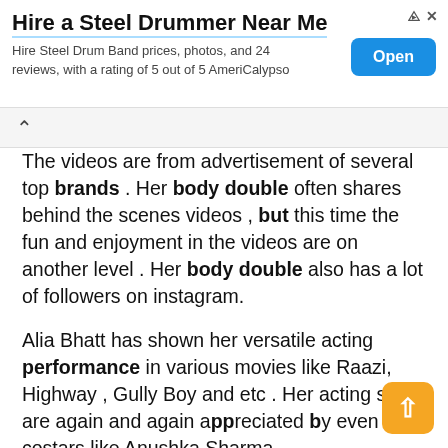[Figure (screenshot): Advertisement banner: 'Hire a Steel Drummer Near Me' with an 'Open' button in blue and ad attribution icons in top right]
The videos are from advertisement of several top brands . Her body double often shares behind the scenes videos , but this time the fun and enjoyment in the videos are on another level . Her body double also has a lot of followers on instagram.
Alia Bhatt has shown her versatile acting performance in various movies like Raazi, Highway , Gully Boy and etc . Her acting skills are again and again appreciated by even her costars like Anushka Sharma.
She gets trolled on the internet for answering some gk questions wrong but there is no doubt in